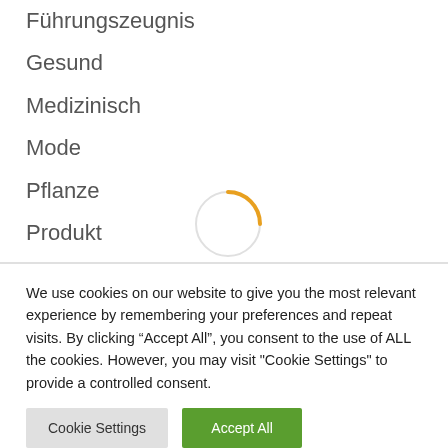Führungszeugnis
Gesund
Medizinisch
Mode
Pflanze
Produkt
Tier
Tiere
[Figure (other): Loading spinner / circular progress indicator, partially visible, with orange/yellow accent on white background]
We use cookies on our website to give you the most relevant experience by remembering your preferences and repeat visits. By clicking “Accept All”, you consent to the use of ALL the cookies. However, you may visit "Cookie Settings" to provide a controlled consent.
Cookie Settings | Accept All